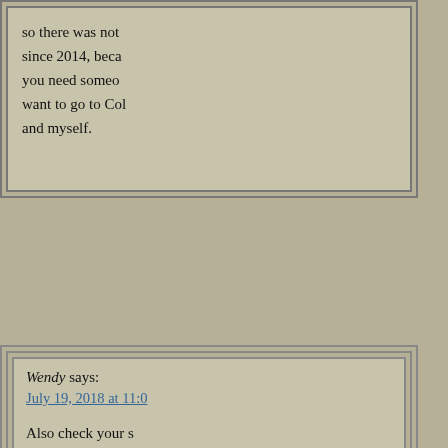so there was not since 2014, beca you need someo want to go to Co and myself.
Wendy says: July 19, 2018 at 11:0 Also check your s yourself know yo party know your r
Ben Tisnado says: December 20, 2013 at 1:30 PM My story starts off with m She refused to get treatr now I am a bad person t